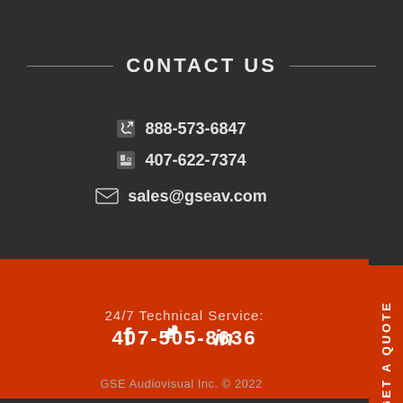CONTACT US
888-573-6847
407-622-7374
sales@gseav.com
24/7 Technical Service:
407-505-8636
GET A QUOTE
[Figure (infographic): Social media icons: Facebook (f), Twitter (bird/y), LinkedIn (in)]
GSE Audiovisual Inc. © 2022